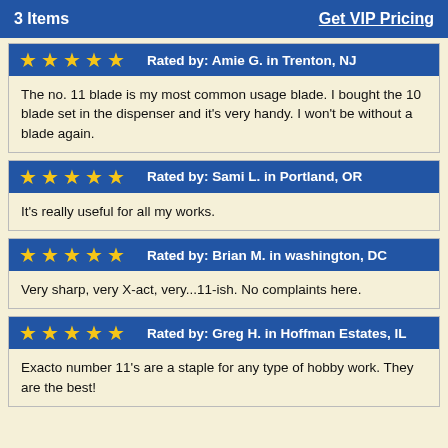3 Items   Get VIP Pricing
Rated by: Amie G. in Trenton, NJ
The no. 11 blade is my most common usage blade. I bought the 10 blade set in the dispenser and it's very handy. I won't be without a blade again.
Rated by: Sami L. in Portland, OR
It's really useful for all my works.
Rated by: Brian M. in washington, DC
Very sharp, very X-act, very...11-ish. No complaints here.
Rated by: Greg H. in Hoffman Estates, IL
Exacto number 11's are a staple for any type of hobby work. They are the best!